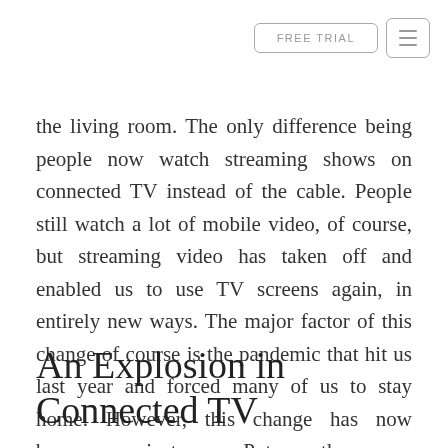FREE TRIAL
the living room. The only difference being people now watch streaming shows on connected TV instead of the cable. People still watch a lot of mobile video, of course, but streaming video has taken off and enabled us to use TV screens again, in entirely new ways. The major factor of this change of course is the pandemic that hit us last year and forced many of us to stay home. However, this change has now become mainstream. Put another way, streaming was always the future — and the future is now.
An Explosion in Connected TV